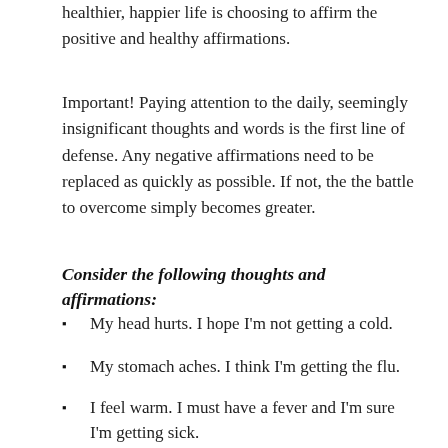healthier, happier life is choosing to affirm the positive and healthy affirmations.
Important! Paying attention to the daily, seemingly insignificant thoughts and words is the first line of defense. Any negative affirmations need to be replaced as quickly as possible. If not, the the battle to overcome simply becomes greater.
Consider the following thoughts and affirmations:
My head hurts. I hope I'm not getting a cold.
My stomach aches. I think I'm getting the flu.
I feel warm. I must have a fever and I'm sure I'm getting sick.
I'm always sick lately.
I catch every illness that comes around.
I just can't seem to get better.